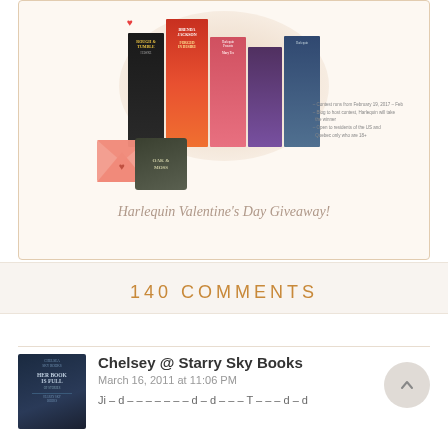[Figure (illustration): Harlequin Valentine's Day Giveaway promotional image showing several romance novel book covers arranged in a circular/fan display with a heart envelope and bullet points listing contest details]
Harlequin Valentine's Day Giveaway!
140 COMMENTS
Chelsey @ Starry Sky Books
March 16, 2011 at 11:06 PM